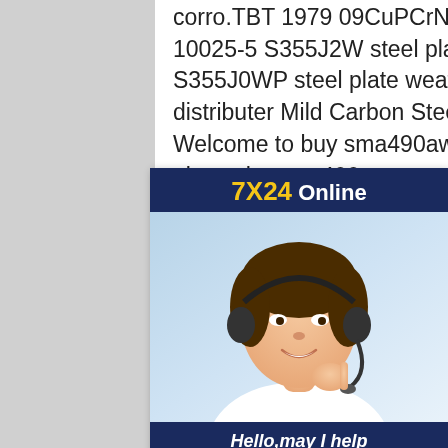corro.TBT 1979 09CuPCrNi-A weather resista.EN 10025-5 S355J2W steel plate weath.EN 10025-5 S355J0WP steel plate weat. jis g 3114 sma400bp distributer Mild Carbon Steel Platessteel sto 3114 Welcome to buy sma490aw equivalent carbon steel plate wha sma400cp corten steel specificati buy Welcome to buy sma490aw equivalent carbon steel plate wha 3114 sma400ap weather steel ex JIS G 3114 SMA400CP weather steel coil-Corten A .This material a structural hot rolled steel and it belongs to the standard of JIS G3116 a Japanese material standard for hot rolled steel plates ,sheets,strips for general gas cylinder usage.JIS G3106 Structrual Steel Plate JIS G3106 specification is for hot
[Figure (other): Customer service chat widget with '7X24 Online' header in navy blue and gold, photo of a young woman with headset smiling, text 'Hello,may I help you?' and a yellow 'Get Latest Price' button.]